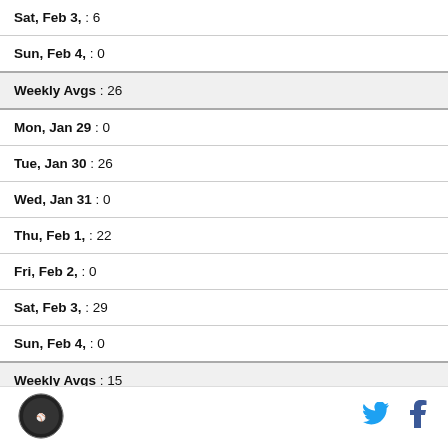| Sat, Feb 3, : 6 |
| Sun, Feb 4, : 0 |
| Weekly Avgs : 26 |
| Mon, Jan 29 : 0 |
| Tue, Jan 30 : 26 |
| Wed, Jan 31 : 0 |
| Thu, Feb 1, : 22 |
| Fri, Feb 2, : 0 |
| Sat, Feb 3, : 29 |
| Sun, Feb 4, : 0 |
| Weekly Avgs : 15 |
Logo | Twitter | Facebook